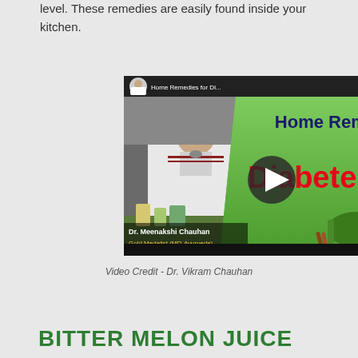level. These remedies are easily found inside your kitchen.
[Figure (screenshot): YouTube video thumbnail for 'Home Remedies for Di...' featuring Dr. Meenakshi Chauhan, Gold Medalist (MD-Ayurveda) on left side, and green promotional graphic with text 'Home Remedies for Diabetes' on right side, with a play button in the center.]
Video Credit - Dr. Vikram Chauhan
BITTER MELON JUICE